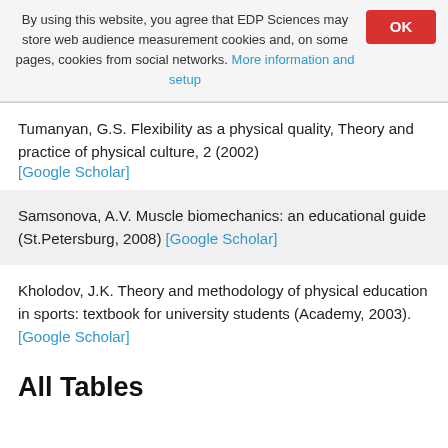By using this website, you agree that EDP Sciences may store web audience measurement cookies and, on some pages, cookies from social networks. More information and setup
Tumanyan, G.S. Flexibility as a physical quality, Theory and practice of physical culture, 2 (2002) [Google Scholar]
Samsonova, A.V. Muscle biomechanics: an educational guide (St.Petersburg, 2008) [Google Scholar]
Kholodov, J.K. Theory and methodology of physical education in sports: textbook for university students (Academy, 2003). [Google Scholar]
All Tables